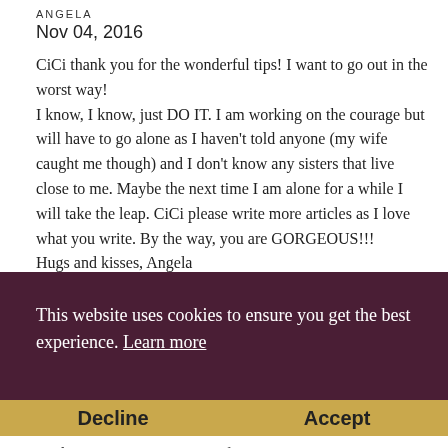ANGELA
Nov 04, 2016
CiCi thank you for the wonderful tips! I want to go out in the worst way!
I know, I know, just DO IT. I am working on the courage but will have to go alone as I haven't told anyone (my wife caught me though) and I don't know any sisters that live close to me. Maybe the next time I am alone for a while I will take the leap. CiCi please write more articles as I love what you write. By the way, you are GORGEOUS!!!
Hugs and kisses, Angela
RAIN
This website uses cookies to ensure you get the best experience. Learn more
Decline
Accept
working on my associate's in fine arts, I once wore a pair